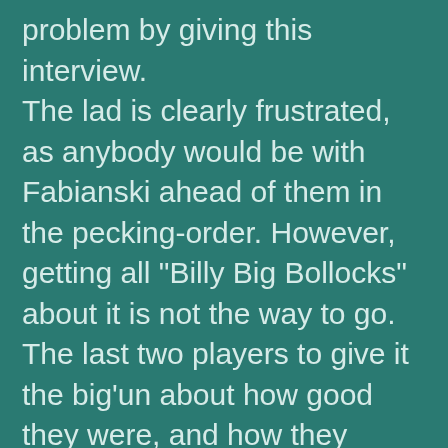problem by giving this interview. The lad is clearly frustrated, as anybody would be with Fabianski ahead of them in the pecking-order. However, getting all "Billy Big Bollocks" about it is not the way to go. The last two players to give it the big'un about how good they were, and how they should be in the Arsenal team, were Jermaine Pennant and David Bentley (one of them is in football purgatory at Stoke City, the other is a regular for Tottenham Reserves.) With Fabianski's latest mistake, the younger Pole might well have found himself moving up a level in the ranks. His outburst, however, should see him relegated back behind Vito Mannone in my view. Sczeszny may be very good, none of us can really say at this stage. Self-confidence